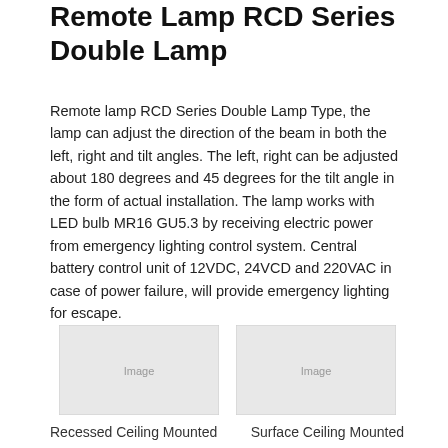Remote Lamp RCD Series Double Lamp
Remote lamp RCD Series Double Lamp Type, the lamp can adjust the direction of the beam in both the left, right and tilt angles. The left, right can be adjusted about 180 degrees and 45 degrees for the tilt angle in the form of actual installation. The lamp works with LED bulb MR16 GU5.3 by receiving electric power from emergency lighting control system. Central battery control unit of 12VDC, 24VCD and 220VAC in case of power failure, will provide emergency lighting for escape.
[Figure (photo): Two images of remote lamp RCD Series double lamp — left showing recessed ceiling mounted version, right showing surface ceiling mounted version.]
Recessed Ceiling Mounted
Surface Ceiling Mounted